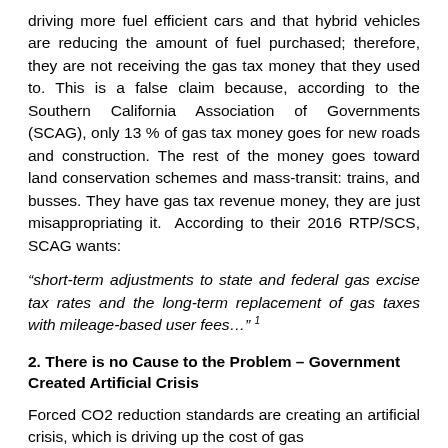driving more fuel efficient cars and that hybrid vehicles are reducing the amount of fuel purchased; therefore, they are not receiving the gas tax money that they used to. This is a false claim because, according to the Southern California Association of Governments (SCAG), only 13 % of gas tax money goes for new roads and construction. The rest of the money goes toward land conservation schemes and mass-transit: trains, and busses. They have gas tax revenue money, they are just misappropriating it. According to their 2016 RTP/SCS, SCAG wants:
“short-term adjustments to state and federal gas excise tax rates and the long-term replacement of gas taxes with mileage-based user fees…” 1
2. There is no Cause to the Problem – Government Created Artificial Crisis
Forced CO2 reduction standards are creating an artificial crisis, which is driving up the cost of gas